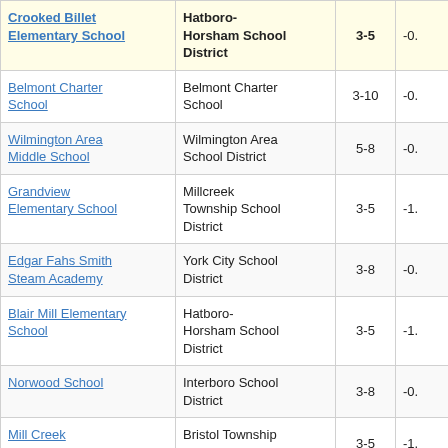| School | District | Grades |  |
| --- | --- | --- | --- |
| Crooked Billet Elementary School | Hatboro-Horsham School District | 3-5 | -0. |
| Belmont Charter School | Belmont Charter School | 3-10 | -0. |
| Wilmington Area Middle School | Wilmington Area School District | 5-8 | -0. |
| Grandview Elementary School | Millcreek Township School District | 3-5 | -1. |
| Edgar Fahs Smith Steam Academy | York City School District | 3-8 | -0. |
| Blair Mill Elementary School | Hatboro-Horsham School District | 3-5 | -1. |
| Norwood School | Interboro School District | 3-8 | -0. |
| Mill Creek Elementary School | Bristol Township School District | 3-5 | -1. |